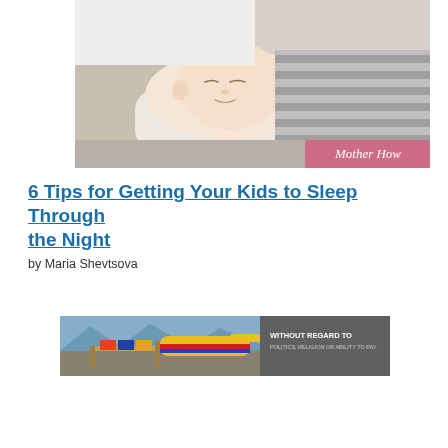[Figure (photo): Sleeping baby resting on a soft blanket/pillow, wearing a striped outfit, with a 'Mother How' watermark in the bottom-right corner of the image.]
6 Tips for Getting Your Kids to Sleep Through the Night
by Maria Shevtsova
[Figure (photo): Advertisement banner showing cargo being loaded onto a Southwest Airlines aircraft with text 'WITHOUT REGARD TO POLITICS, RELIGION OR ABILITY TO PAY'.]